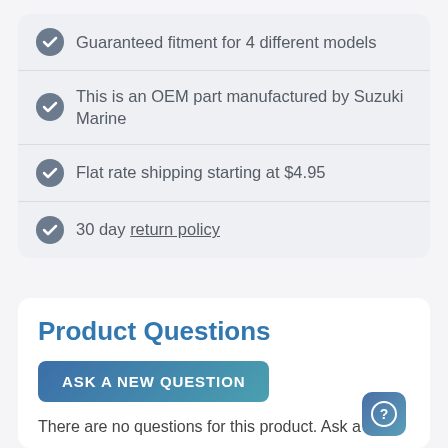Guaranteed fitment for 4 different models
This is an OEM part manufactured by Suzuki Marine
Flat rate shipping starting at $4.95
30 day return policy
Product Questions
ASK A NEW QUESTION
There are no questions for this product. Ask a